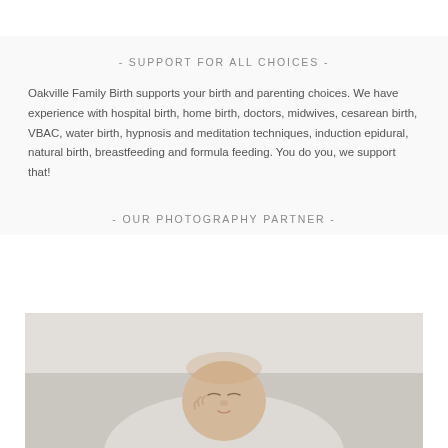- SUPPORT FOR ALL CHOICES -
Oakville Family Birth supports your birth and parenting choices. We have experience with hospital birth, home birth, doctors, midwives, cesarean birth, VBAC, water birth, hypnosis and meditation techniques, induction epidural, natural birth, breastfeeding and formula feeding. You do you, we support that!
- OUR PHOTOGRAPHY PARTNER -
[Figure (photo): Photograph of a newborn baby lying down, eyes closed, hand raised near face, on a light background]